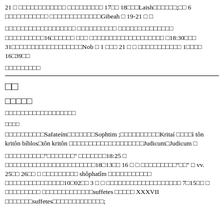21 □ □□□□□□□□□□□□ □□□□□□□□□ 17□□ 18□□□Laish□□□□□□;□□ 6 □□□□□□□□□□□ □□□□□□□□□□□□□Gibeah □ 19-21 □ □
□□□□□□□□□□□□□□□□□□ □□□□□□□□□□ □□□□□□□□□□□□□□ □□□□□□□□□□16□□□□□□ □□□ □□□□□□□□□□□□□□□□□□□ □18:30□□□ 31□□□□□□□□□□□□□□□□□□Nob □ 1 □□□ 21 □ □ □□□□□□□□□□□ 1□□□□ 16□39□□
□□□□□□□□□
□□
□□□□□
□□□□□□□□□□□□□□□□□□
□□□□
□□□□□□□□□□Safateím□□□□□□□Sophtim ;□□□□□□□□□□Kritaí □□□□ì tôn kritôn bíblos□tôn kritôn □□□□□□□□□□□□□□□□□□□Judicum□Judicum □
□□□□□□□□□□"□□□□□□□" □□□□□□□18:25 □ □□□□□□□□□□□□□□□□□□□□□□□18□13□□ 16 □ □ □□□□□□□□□"□□" □ vv. 25□□ 26□□ □ □□□□□□□□□ shôphatîm □□□□□□□□□□□ □□□□□□□□□□□□□□□10□02□□ 3 □ □ □□□□□□□□□□□□□□□□□□□ 7□15□□ □ □□□□□□□□□ □□□□□□□□□□□□□suffetes □□□□□ XXXVII □□□□□□□suffetes□□□□□□□□□□□□□;